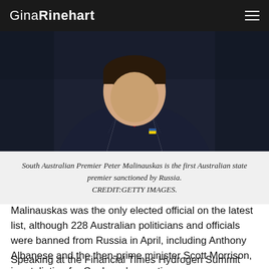GinaRinehart
[Figure (photo): South Australian Premier Peter Malinauskas shown from chest up, wearing a dark navy suit with a red tie and a small badge on the lapel, photographed outdoors.]
South Australian Premier Peter Malinauskas is the first Australian state premier sanctioned by Russia. CREDIT:GETTY IMAGES.
Malinauskas was the only elected official on the latest list, although 228 Australian politicians and officials were banned from Russia in April, including Anthony Albanese and the then-prime minister Scott Morrison, in retaliation for Canberra's sanctions.
Speaking at the Financial Times Hydrogen Summit just hours after he was slapped with sanctions by the